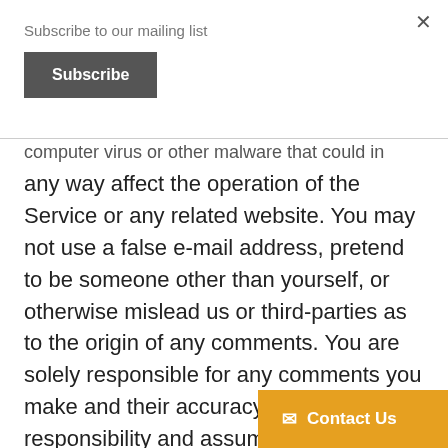Subscribe to our mailing list
Subscribe
computer virus or other malware that could in any way affect the operation of the Service or any related website. You may not use a false e-mail address, pretend to be someone other than yourself, or otherwise mislead us or third-parties as to the origin of any comments. You are solely responsible for any comments you make and their accuracy. We take no responsibility and assume no liability for any comments posted by you or any third-party.
Contact Us